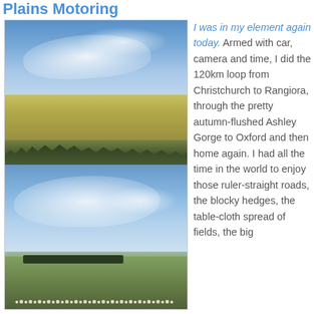Plains Motoring
[Figure (photo): Two stacked landscape photographs of New Zealand plains. Top photo shows a wide golden/yellow field under a dramatic blue sky with scattered clouds and a treeline on the horizon. Bottom photo shows a green field under a similar blue sky with clouds, and a group of animals (likely sheep or cattle) visible along the bottom.]
I was in my element again today. Armed with car, camera and time, I did the 120km loop from Christchurch to Rangiora, through the pretty autumn-flushed Ashley Gorge to Oxford and then home again. I had all the time in the world to enjoy those ruler-straight roads, the blocky hedges, the table-cloth spread of fields, the big…